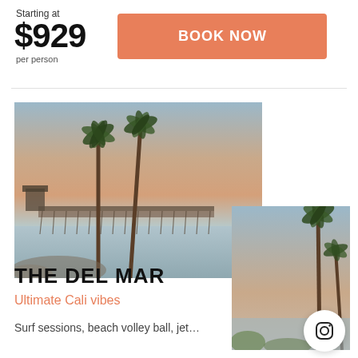Starting at
$929
per person
BOOK NOW
[Figure (photo): Beach pier at sunset with tall palm trees, California coastline]
THE DEL MAR
Ultimate Cali vibes
Surf sessions, beach volley ball, jet...